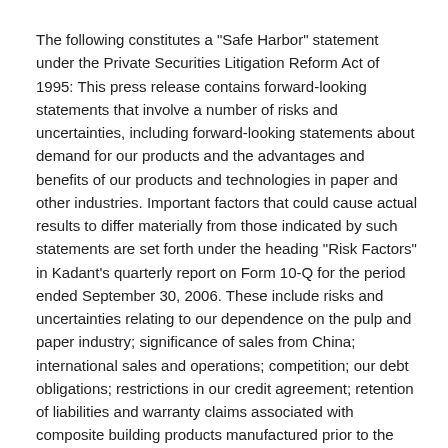The following constitutes a "Safe Harbor" statement under the Private Securities Litigation Reform Act of 1995: This press release contains forward-looking statements that involve a number of risks and uncertainties, including forward-looking statements about demand for our products and the advantages and benefits of our products and technologies in paper and other industries. Important factors that could cause actual results to differ materially from those indicated by such statements are set forth under the heading "Risk Factors" in Kadant's quarterly report on Form 10-Q for the period ended September 30, 2006. These include risks and uncertainties relating to our dependence on the pulp and paper industry; significance of sales from China; international sales and operations; competition; our debt obligations; restrictions in our credit agreement; retention of liabilities and warranty claims associated with composite building products manufactured prior to the sale of the business; our ability to successfully integrate Kadant Jining; our acquisition strategy; our ability to realize the anticipated benefits from the restructuring of our French subsidiary; the impact of high natural gas prices on the manufacture of fiber-based products; availability of raw materials related to the manufacture of fiber-based products; protection of patents and proprietary rights;